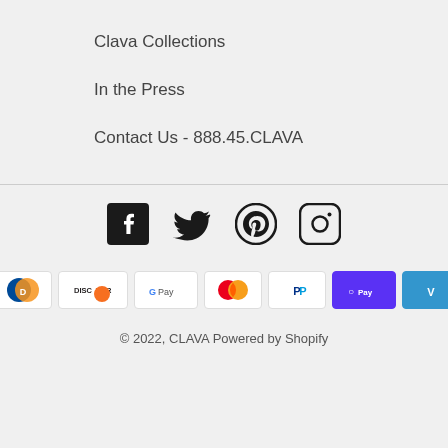Clava Collections
In the Press
Contact Us - 888.45.CLAVA
[Figure (other): Social media icons: Facebook, Twitter, Pinterest, Instagram]
[Figure (other): Payment method icons: American Express, Diners Club, Discover, Google Pay, Mastercard, PayPal, Shop Pay, Venmo, Visa]
© 2022, CLAVA Powered by Shopify